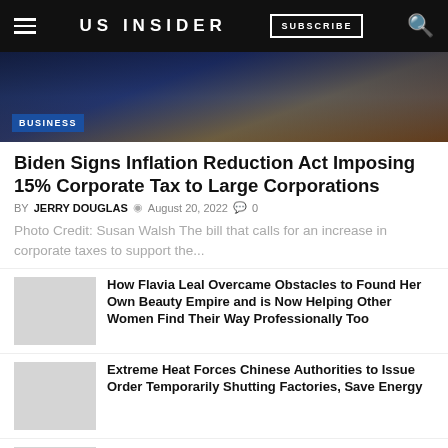US INSIDER | SUBSCRIBE
[Figure (photo): Biden signing ceremony photo with BUSINESS badge overlay]
Biden Signs Inflation Reduction Act Imposing 15% Corporate Tax to Large Corporations
BY JERRY DOUGLAS  August 20, 2022  0
Photo Credit: Susan Walsh The bill that calls for an increase in corporate taxes to support the...
How Flavia Leal Overcame Obstacles to Found Her Own Beauty Empire and is Now Helping Other Women Find Their Way Professionally Too
Extreme Heat Forces Chinese Authorities to Issue Order Temporarily Shutting Factories, Save Energy
The Ethereum Merge: What's Next?